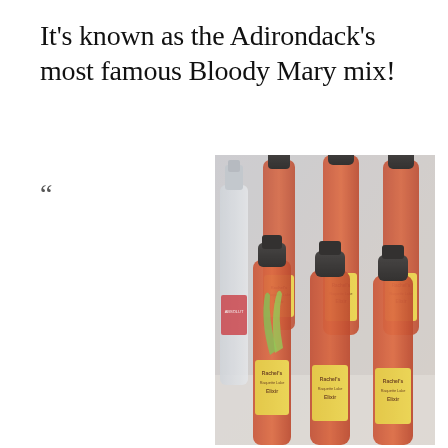It’s known as the Adirondack’s most famous Bloody Mary mix!
“
[Figure (photo): Photograph of multiple bottles of Rachel’s Raquette Lake Elixir Bloody Mary mix, with dark caps and yellow labels, arranged together with celery garnish and a vodka bottle visible on the left side.]